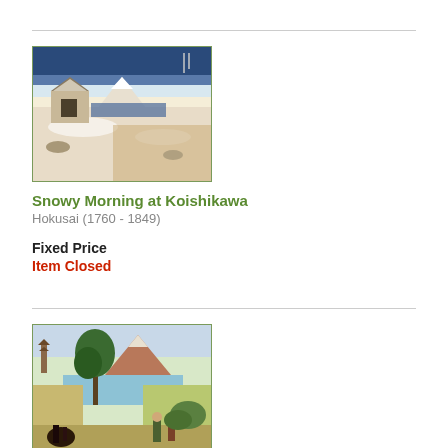[Figure (illustration): Japanese woodblock print showing a snowy morning landscape with a building, Mt. Fuji in background, snow-covered ground]
Snowy Morning at Koishikawa
Hokusai (1760 - 1849)
Fixed Price
Item Closed
[Figure (illustration): Japanese woodblock print showing a landscape with trees, Mt. Fuji, water, and figures with a horse in colorful style]